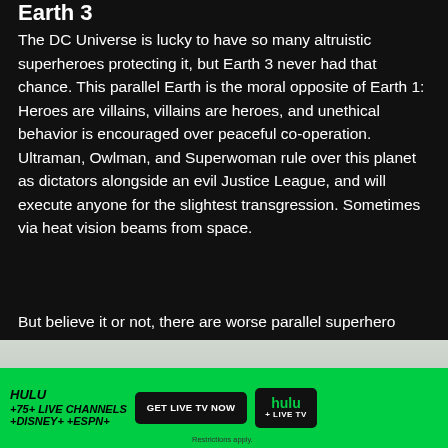Earth 3
The DC Universe is lucky to have so many altruistic superheroes protecting it, but Earth 3 never had that chance. This parallel Earth is the moral opposite of Earth 1: Heroes are villains, villains are heroes, and unethical behavior is encouraged over peaceful co-operation. Ultraman, Owlman, and Superwoman rule over this planet as dictators alongside an evil Justice League, and will execute anyone for the slightest transgression. Sometimes via heat vision beams from space.
But believe it or not, there are worse parallel superhero Earths to visit…
[Figure (logo): Circular gold/yellow badge with stylized 'e+' logo]
[Figure (infographic): Hulu advertisement banner: green background with text 'HULU +75+ LIVE CHANNELS +DISNEY++ESPN+', black button 'GET LIVE TV NOW', and Hulu + Live TV logo on black background. Restrictions apply.]